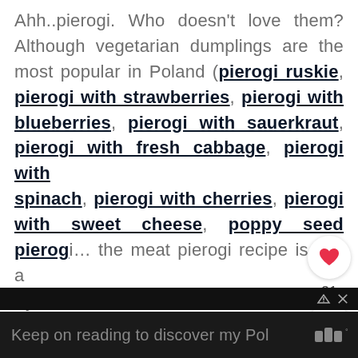Ahh..pierogi. Who doesn't love them? Although vegetarian dumplings are the most popular in Poland (pierogi ruskie, pierogi with strawberries, pierogi with blueberries, pierogi with sauerkraut, pierogi with fresh cabbage, pierogi with spinach, pierogi with cherries, pierogi with sweet cheese, poppy seed pierogi... the meat pierogi recipe is just a must try!
Keep on reading to discover my Pol...